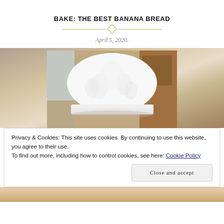BAKE: THE BEST BANANA BREAD
April 5, 2020.
[Figure (photo): A white chef's hat photographed from above against a warm wooden background]
Privacy & Cookies: This site uses cookies. By continuing to use this website, you agree to their use.
To find out more, including how to control cookies, see here: Cookie Policy
Close and accept